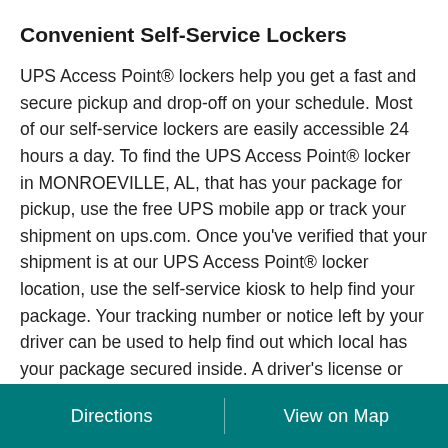Convenient Self-Service Lockers
UPS Access Point® lockers help you get a fast and secure pickup and drop-off on your schedule. Most of our self-service lockers are easily accessible 24 hours a day. To find the UPS Access Point® locker in MONROEVILLE, AL, that has your package for pickup, use the free UPS mobile app or track your shipment on ups.com. Once you've verified that your shipment is at our UPS Access Point® locker location, use the self-service kiosk to help find your package. Your tracking number or notice left by your driver can be used to help find out which local has your package secured inside. A driver's license or other government issued ID like a military ID can be used to verify your identity and authorize your package for pickup. Once verified, your locker door will open
Directions | View on Map